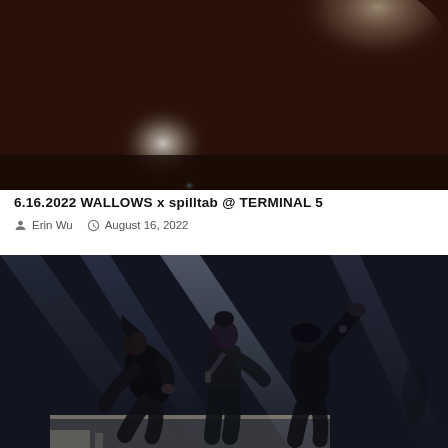[Figure (photo): Concert photo with dark warm tones, blurred figures and lighting in dark reddish-brown background]
6.16.2022 WALLOWS x spilltab @ TERMINAL 5
Erin Wu   August 16, 2022
[Figure (photo): Concert performance photo showing three performers in black outfits on a stage with bright blue/white stage lighting and dramatic beams]